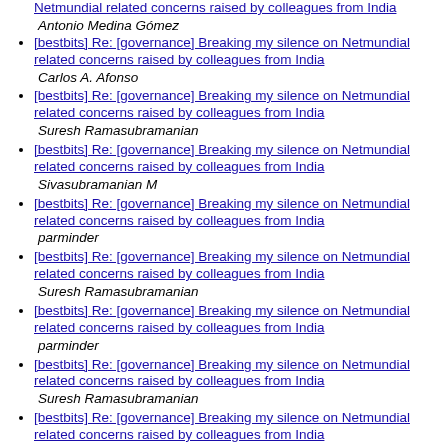[bestbits] Re: [governance] Breaking my silence on Netmundial related concerns raised by colleagues from India — Antonio Medina Gómez
[bestbits] Re: [governance] Breaking my silence on Netmundial related concerns raised by colleagues from India — Carlos A. Afonso
[bestbits] Re: [governance] Breaking my silence on Netmundial related concerns raised by colleagues from India — Suresh Ramasubramanian
[bestbits] Re: [governance] Breaking my silence on Netmundial related concerns raised by colleagues from India — Sivasubramanian M
[bestbits] Re: [governance] Breaking my silence on Netmundial related concerns raised by colleagues from India — parminder
[bestbits] Re: [governance] Breaking my silence on Netmundial related concerns raised by colleagues from India — Suresh Ramasubramanian
[bestbits] Re: [governance] Breaking my silence on Netmundial related concerns raised by colleagues from India — parminder
[bestbits] Re: [governance] Breaking my silence on Netmundial related concerns raised by colleagues from India — Suresh Ramasubramanian
[bestbits] Re: [governance] Breaking my silence on Netmundial related concerns raised by colleagues from India — (partial)